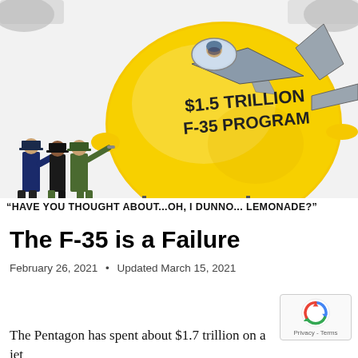[Figure (illustration): Political cartoon showing a giant lemon shaped like an F-35 fighter jet labeled '$1.5 TRILLION F-35 PROGRAM' with a pilot in the cockpit, landing gear, and tail fins. Three military officers stand below looking at it. Caption reads: "HAVE YOU THOUGHT ABOUT...OH, I DUNNO... LEMONADE?"]
"HAVE YOU THOUGHT ABOUT...OH, I DUNNO... LEMONADE?"
The F-35 is a Failure
February 26, 2021  •  Updated March 15, 2021
The Pentagon has spent about $1.7 trillion on a jet